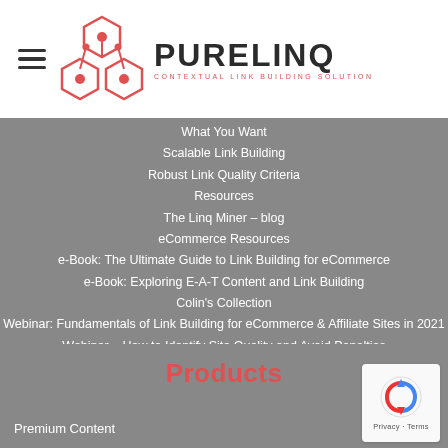[Figure (logo): PureLinq logo with hexagonal network icon in red and dark text reading PURELINQ with tagline CONTEXTUAL LINK BUILDING SOLUTION]
What You Want
Scalable Link Building
Robust Link Quality Criteria
Resources
The Linq Miner – blog
eCommerce Resources
e-Book: The Ultimate Guide to Link Building for eCommerce
e-Book: Exploring E-A-T Content and Link Building
Colin's Collection
Webinar: Fundamentals of Link Building for eCommerce & Affiliate Sites in 2021
Webinar – How to Identify Site Quality and Avoid Penalties
Get a Quote
Products
Premium Content
[Figure (other): reCAPTCHA logo widget showing blue/red arrow icon with Privacy - Terms text]